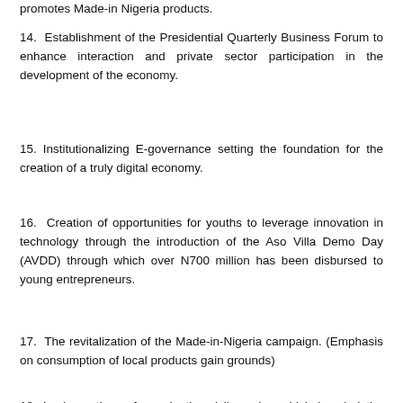promotes Made-in Nigeria products.
14. Establishment of the Presidential Quarterly Business Forum to enhance interaction and private sector participation in the development of the economy.
15. Institutionalizing E-governance setting the foundation for the creation of a truly digital economy.
16. Creation of opportunities for youths to leverage innovation in technology through the introduction of the Aso Villa Demo Day (AVDD) through which over N700 million has been disbursed to young entrepreneurs.
17. The revitalization of the Made-in-Nigeria campaign. (Emphasis on consumption of local products gain grounds)
18. Implementing reforms in the civil service which has led the elimination of over 30,000 ghost workers, thereby saving